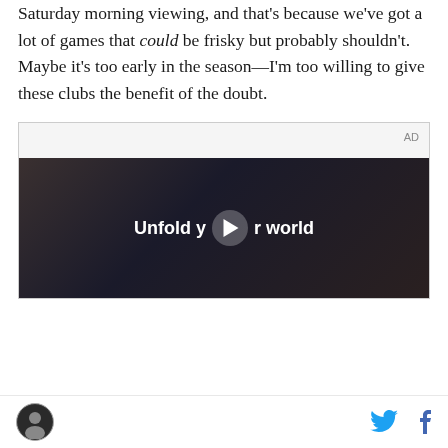Saturday morning viewing, and that's because we've got a lot of games that could be frisky but probably shouldn't. Maybe it's too early in the season—I'm too willing to give these clubs the benefit of the doubt.
[Figure (other): Advertisement placeholder box with 'AD' label in top right, followed by a video thumbnail showing a woman in a car holding a smartphone with text 'Unfold your world' and a play button overlay.]
[Figure (photo): Footer bar with circular avatar icon on the left and Twitter and Facebook social media icons on the right.]